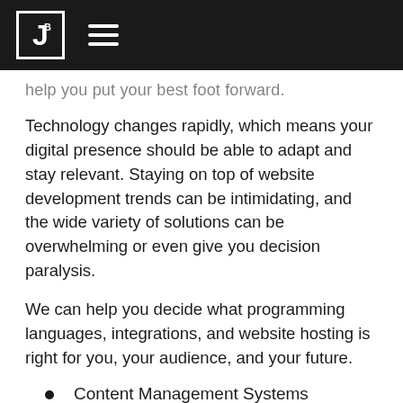JB [logo] [hamburger menu]
help you put your best foot forward.
Technology changes rapidly, which means your digital presence should be able to adapt and stay relevant. Staying on top of website development trends can be intimidating, and the wide variety of solutions can be overwhelming or even give you decision paralysis.
We can help you decide what programming languages, integrations, and website hosting is right for you, your audience, and your future.
Content Management Systems
Custom WordPress Themes
Mobile-first Methodology